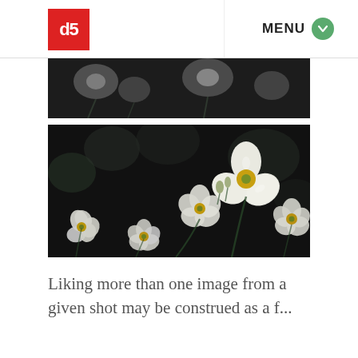db | MENU
[Figure (photo): Black and white close-up photo of white flowers with dark blurred background — top portion partially visible]
[Figure (photo): Dark moody close-up photograph of multiple white anemone flowers with yellow/green centers against a very dark background]
Liking more than one image from a given shot may be construed as a f... [continues below]